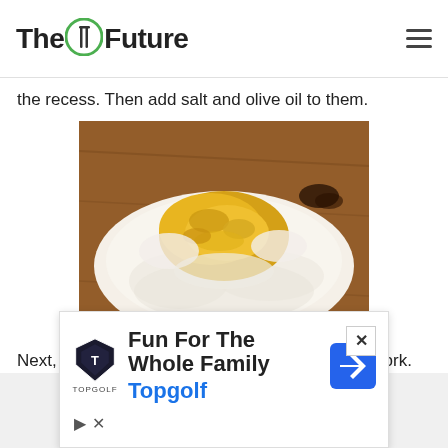The Future (logo with fork/knife icon)
the recess. Then add salt and olive oil to them.
[Figure (photo): Flour mound on a wooden surface with beaten egg mixture (yellow) in the center, for pasta dough preparation.]
Next, gently begin to mix the egg mixture with a fork.
[Figure (infographic): Advertisement overlay: Fun For The Whole Family - Topgolf, with Topgolf shield logo and navigation arrow icon. Close button (×) at top right.]